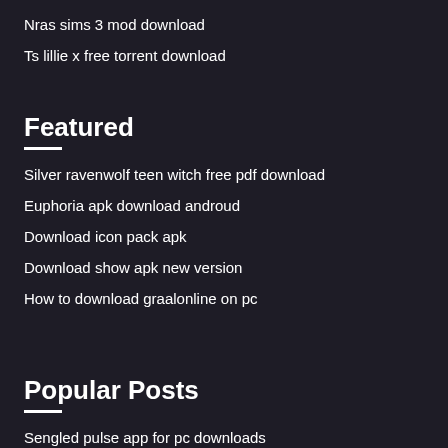Nras sims 3 mod download
Ts lillie x free torrent download
Featured
Silver ravenwolf teen witch free pdf download
Euphoria apk download androud
Download icon pack apk
Download show apk new version
How to download graalonline on pc
Popular Posts
Sengled pulse app for pc downloads
How to get torrent to download faster
Download kingsman the golden circle in hindi torrent